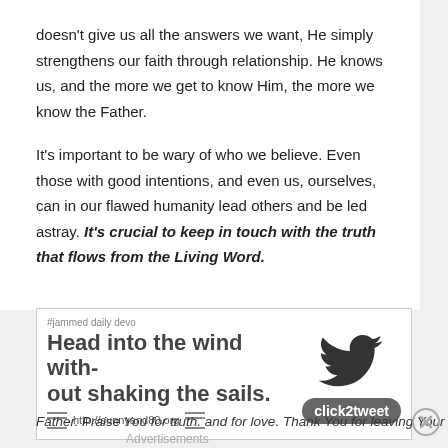doesn't give us all the answers we want, He simply strengthens our faith through relationship. He knows us, and the more we get to know Him, the more we know the Father.
It's important to be wary of who we believe. Even those with good intentions, and even us, ourselves, can in our flawed humanity lead others and be led astray. It's crucial to keep in touch with the truth that flows from the Living Word.
[Figure (infographic): Social media click2tweet ad box for #jammed daily devo with headline 'Head into the wind without shaking the sails.' with Twitter bird logo and click2tweet button, url http://sunnyand80.org]
Father. Praise You for truth. and for love. Thank You for leaving Your
Advertisements